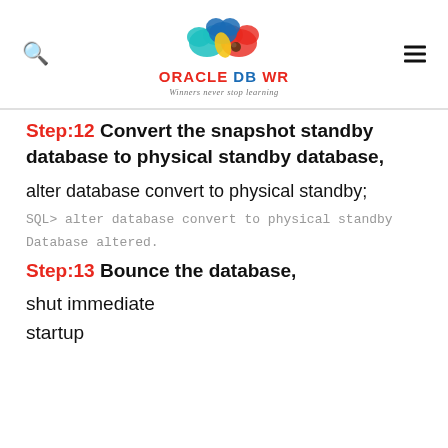ORACLE db WR — Winners never stop learning
Step:12 Convert the snapshot standby database to physical standby database,
alter database convert to physical standby;
SQL> alter database convert to physical standby
Database altered.
Step:13 Bounce the database,
shut immediate
startup